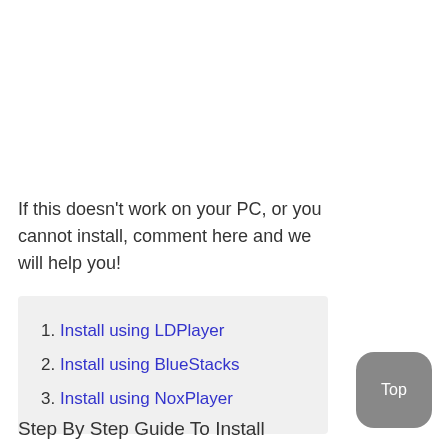If this doesn't work on your PC, or you cannot install, comment here and we will help you!
Install using LDPlayer
Install using BlueStacks
Install using NoxPlayer
Step By Step Guide To Install